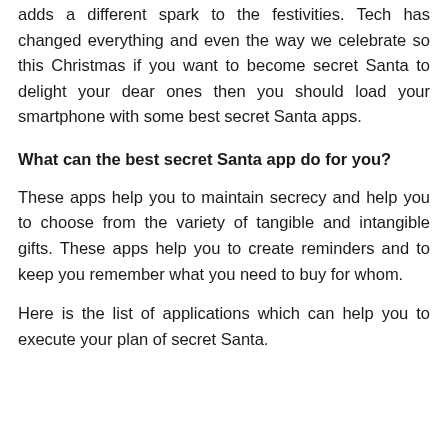adds a different spark to the festivities. Tech has changed everything and even the way we celebrate so this Christmas if you want to become secret Santa to delight your dear ones then you should load your smartphone with some best secret Santa apps.
What can the best secret Santa app do for you?
These apps help you to maintain secrecy and help you to choose from the variety of tangible and intangible gifts. These apps help you to create reminders and to keep you remember what you need to buy for whom.
Here is the list of applications which can help you to execute your plan of secret Santa.